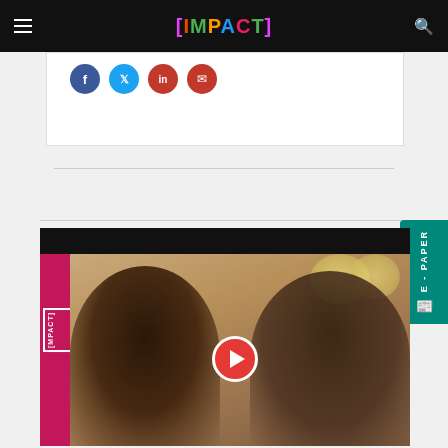[IMPACT]
[Figure (screenshot): Social media share icons: Facebook (blue circle), Twitter (blue circle), LinkedIn (red circle), Email (red circle)]
[Figure (photo): Video thumbnail showing two people: a woman with curly hair smiling on the left and a man with glasses and long grey hair on the right, with a play button overlay in the center. The Impact magazine logo is visible on a magenta sidebar.]